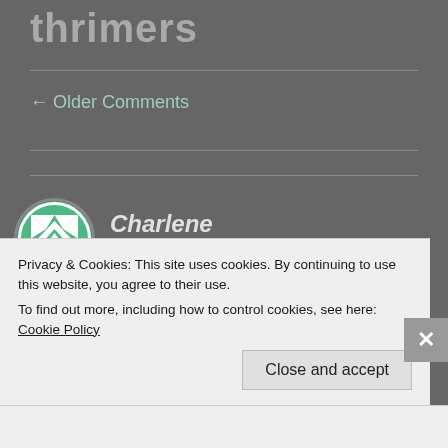thrimers
← Older Comments
[Figure (illustration): Circular avatar with green and white geometric quilt-pattern design]
Charlene
JUNE 25, 2013 AT 1:13 PM
Privacy & Cookies: This site uses cookies. By continuing to use this website, you agree to their use.
To find out more, including how to control cookies, see here: Cookie Policy
Close and accept